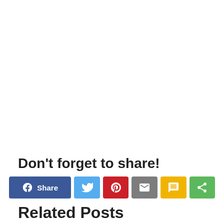Don't forget to share!
[Figure (other): Row of social share buttons: Facebook Share, Twitter, Pinterest, Email, SMS, Share]
Related Posts